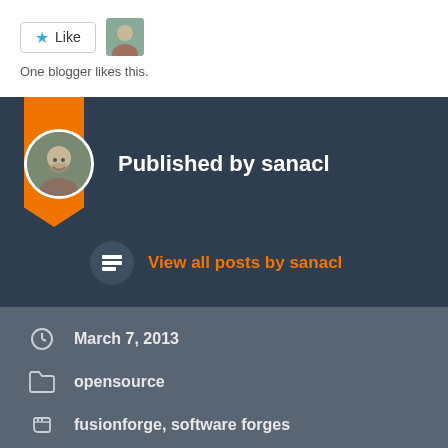[Figure (other): Like button with star icon and small user avatar photo]
One blogger likes this.
[Figure (other): Author profile section with orange ribbon bookmark, circular avatar, and text 'Published by sanacl']
View all posts by sanacl
March 7, 2013
opensource
fusionforge, software forges
Reviewers and companies in the WebKit project